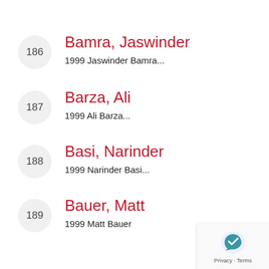186 Bamra, Jaswinder
1999 Jaswinder Bamra...
187 Barza, Ali
1999 Ali Barza...
188 Basi, Narinder
1999 Narinder Basi...
189 Bauer, Matt
1999 Matt Bauer